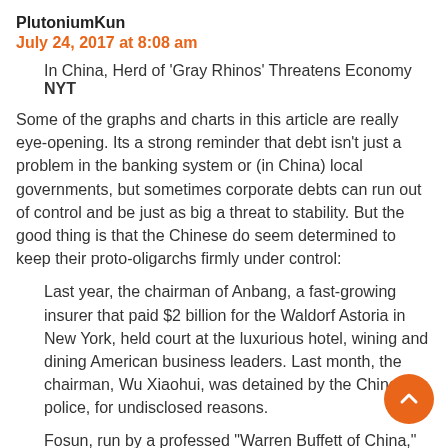PlutoniumKun
July 24, 2017 at 8:08 am
In China, Herd of ‘Gray Rhinos’ Threatens Economy NYT
Some of the graphs and charts in this article are really eye-opening. Its a strong reminder that debt isn’t just a problem in the banking system or (in China) local governments, but sometimes corporate debts can run out of control and be just as big a threat to stability. But the good thing is that the Chinese do seem determined to keep their proto-oligarchs firmly under control:
Last year, the chairman of Anbang, a fast-growing insurer that paid $2 billion for the Waldorf Astoria in New York, held court at the luxurious hotel, wining and dining American business leaders. Last month, the chairman, Wu Xiaohui, was detained by the Chinese police, for undisclosed reasons.
Fosun, run by a professed “Warren Buffett of China,” made multibillion-dollar deals for Club Med, Cirque du Soleil and other brands. The company was recently forced to deny speculation that its chairman, Guo Guangchang, who was briefly held by officials in 2015 for unknown reasons, was in custody again.